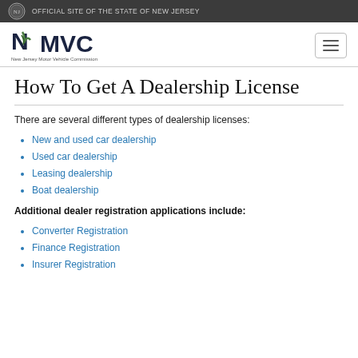OFFICIAL SITE OF THE STATE OF NEW JERSEY
[Figure (logo): NJ MVC - New Jersey Motor Vehicle Commission logo with NJ state seal and hamburger menu button]
How To Get A Dealership License
There are several different types of dealership licenses:
New and used car dealership
Used car dealership
Leasing dealership
Boat dealership
Additional dealer registration applications include:
Converter Registration
Finance Registration
Insurer Registration